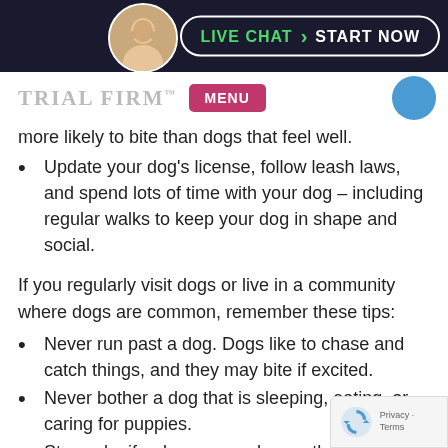LIVE CHAT  START NOW
[Figure (logo): Trial Firm logo with MENU button and blue circle icon]
more likely to bite than dogs that feel well.
Update your dog's license, follow leash laws, and spend lots of time with your dog – including regular walks to keep your dog in shape and social.
If you regularly visit dogs or live in a community where dogs are common, remember these tips:
Never run past a dog. Dogs like to chase and catch things, and they may bite if excited.
Never bother a dog that is sleeping, eating, or caring for puppies.
Stay calm if a dog approaches or threatens you. If you scream, yell, or run, the dog is more likely to believe you are a threat and to act accordingly.